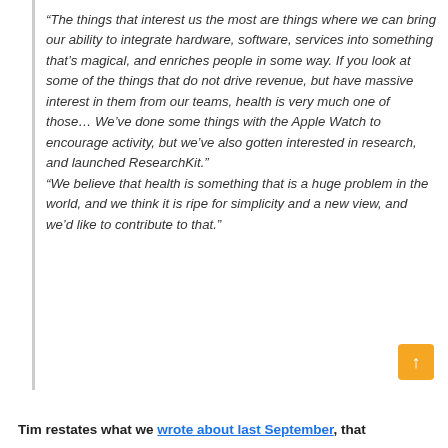“The things that interest us the most are things where we can bring our ability to integrate hardware, software, services into something that’s magical, and enriches people in some way. If you look at some of the things that do not drive revenue, but have massive interest in them from our teams, health is very much one of those… We’ve done some things with the Apple Watch to encourage activity, but we’ve also gotten interested in research, and launched ResearchKit.” “We believe that health is something that is a huge problem in the world, and we think it is ripe for simplicity and a new view, and we’d like to contribute to that.”
Tim restates what we wrote about last September, that